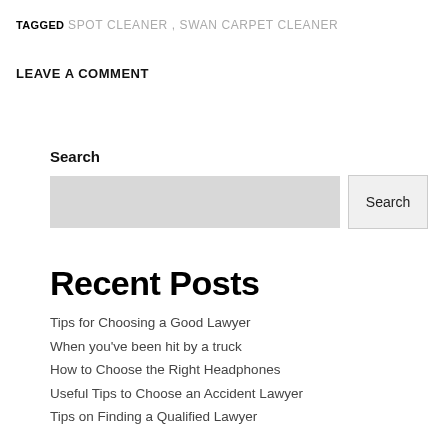TAGGED SPOT CLEANER , SWAN CARPET CLEANER
LEAVE A COMMENT
Search
Tips for Choosing a Good Lawyer
When you've been hit by a truck
How to Choose the Right Headphones
Useful Tips to Choose an Accident Lawyer
Tips on Finding a Qualified Lawyer